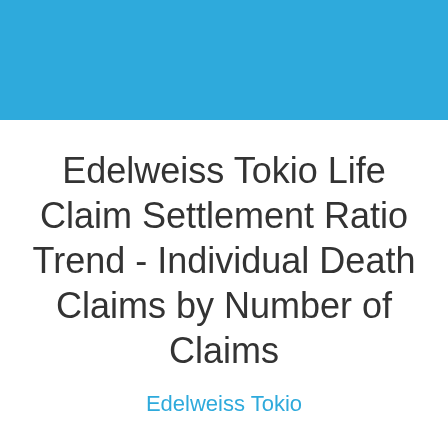Edelweiss Tokio Life Claim Settlement Ratio Trend - Individual Death Claims by Number of Claims
Edelweiss Tokio